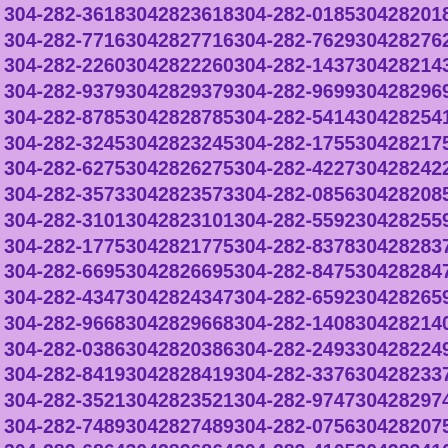304-282-3618 3042823618 304-282-0185 3042820185 304-282-7716 3042827716 304-282-7629 3042827629 304-282-2260 3042822260 304-282-1437 3042821437 304-282-9379 3042829379 304-282-9699 3042829699 304-282-8785 3042828785 304-282-5414 3042825414 304-282-3245 3042823245 304-282-1755 3042821755 304-282-6275 3042826275 304-282-4227 3042824227 304-282-3573 3042823573 304-282-0856 3042820856 304-282-3101 3042823101 304-282-5592 3042825592 304-282-1775 3042821775 304-282-8378 3042828378 304-282-6695 3042826695 304-282-8475 3042828475 304-282-4347 3042824347 304-282-6592 3042826592 304-282-9668 3042829668 304-282-1408 3042821408 304-282-0386 3042820386 304-282-2493 3042822493 304-282-8419 3042828419 304-282-3376 3042823376 304-282-3521 3042823521 304-282-9747 3042829747 304-282-7489 3042827489 304-282-0756 3042820756 304-282-6864 3042826864 304-282-4105 3042824105 304-282-0731 3042820731 304-282-4977 3042824977 304-282-6509 3042826509 304-282-6555 3042826555 304-282-9945 3042829945 304-282-7423 3042827423